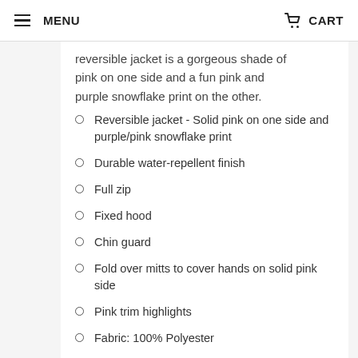MENU   CART
reversible jacket is a gorgeous shade of pink on one side and a fun pink and purple snowflake print on the other.
Reversible jacket - Solid pink on one side and purple/pink snowflake print
Durable water-repellent finish
Full zip
Fixed hood
Chin guard
Fold over mitts to cover hands on solid pink side
Pink trim highlights
Fabric: 100% Polyester
Insulation: 100% Polyester